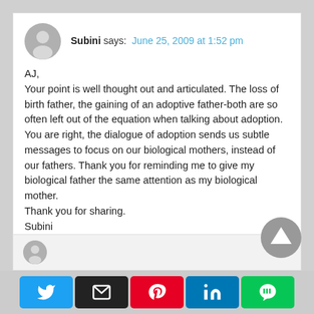Subini says: June 25, 2009 at 1:52 pm
AJ,
Your point is well thought out and articulated. The loss of birth father, the gaining of an adoptive father-both are so often left out of the equation when talking about adoption.
You are right, the dialogue of adoption sends us subtle messages to focus on our biological mothers, instead of our fathers. Thank you for reminding me to give my biological father the same attention as my biological mother.
Thank you for sharing.
Subini